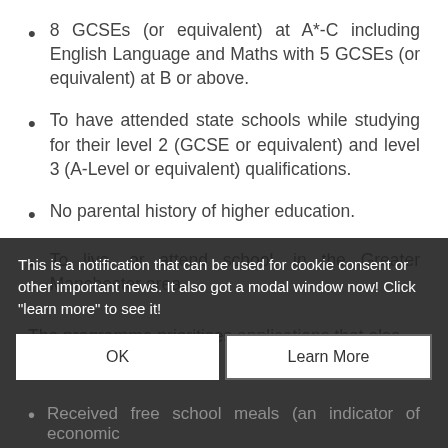8 GCSEs (or equivalent) at A*-C including English Language and Maths with 5 GCSEs (or equivalent) at B or above.
To have attended state schools while studying for their level 2 (GCSE or equivalent) and level 3 (A-Level or equivalent) qualifications.
No parental history of higher education.
To live, or attend school, in the Greater Manchester area.
The programme prioritises applications that also meet the following:
Received free school meals (an indicator of economic...
Receive 16-19 bursary (an indicator of...
This is a notification that can be used for cookie consent or other important news. It also got a modal window now! Click "learn more" to see it!